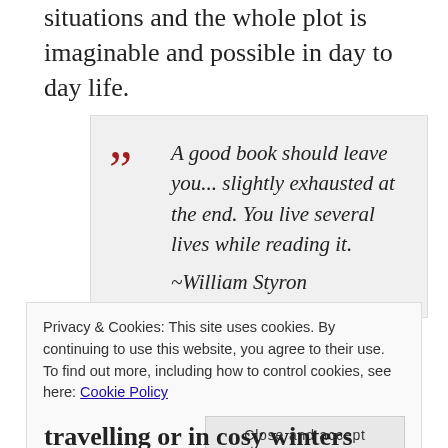situations and the whole plot is imaginable and possible in day to day life.
A good book should leave you... slightly exhausted at the end. You live several lives while reading it. ~William Styron
The writer has successfully created a colorful
Privacy & Cookies: This site uses cookies. By continuing to use this website, you agree to their use. To find out more, including how to control cookies, see here: Cookie Policy
Close and accept
travelling or in cosy winters curled up in bed